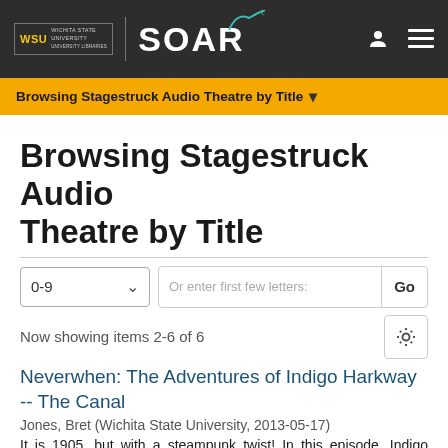Wichita State University SOAR
Browsing Stagestruck Audio Theatre by Title
Browsing Stagestruck Audio Theatre by Title
Now showing items 2-6 of 6
Neverwhen: The Adventures of Indigo Harkway -- The Canal
Jones, Bret (Wichita State University, 2013-05-17)
It is 1905, but with a steampunk twist! In this episode, Indigo Harkway is sent to the construction site for the Panama Canal by President Teddy Roosevelt, who he rode with up San Juan hill--